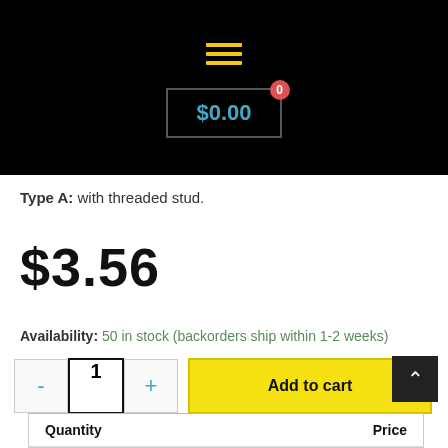[Figure (screenshot): Black header bar with yellow hamburger menu icon and a cart box showing $0.00 with a red badge showing 0]
Type A: with threaded stud.
$3.56
Availability: 50 in stock (backorders ship within 1-2 weeks)
- 1 + Add to cart
| Quantity | Price |
| --- | --- |